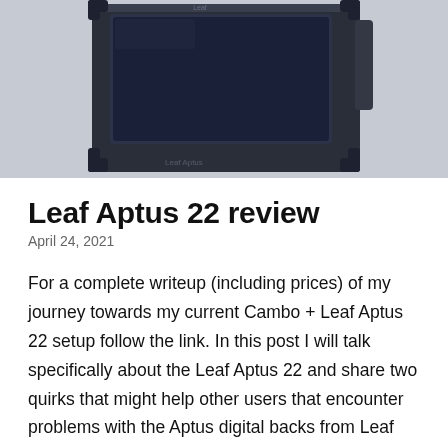[Figure (photo): Back view of a Leaf Aptus 22 medium format digital camera back, showing a large LCD screen on a dark grey/black body, on a light grey background.]
Leaf Aptus 22 review
April 24, 2021
For a complete writeup (including prices) of my journey towards my current Cambo + Leaf Aptus 22 setup follow the link. In this post I will talk specifically about the Leaf Aptus 22 and share two quirks that might help other users that encounter problems with the Aptus digital backs from Leaf